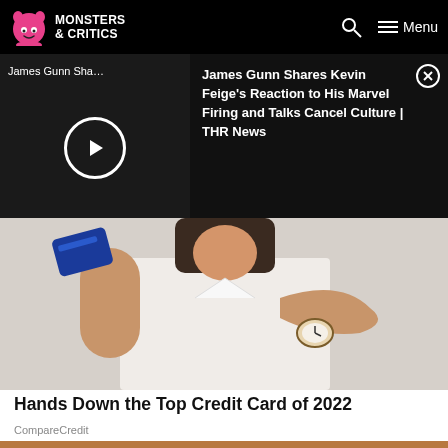Monsters & Critics
James Gunn Sha…
James Gunn Shares Kevin Feige's Reaction to His Marvel Firing and Talks Cancel Culture | THR News
[Figure (photo): Woman in white shirt holding a blue credit card and pointing at it, wearing a watch]
Hands Down the Top Credit Card of 2022
CompareCredit
[Figure (photo): Partial bottom strip showing orange/warm toned image, likely another article teaser]